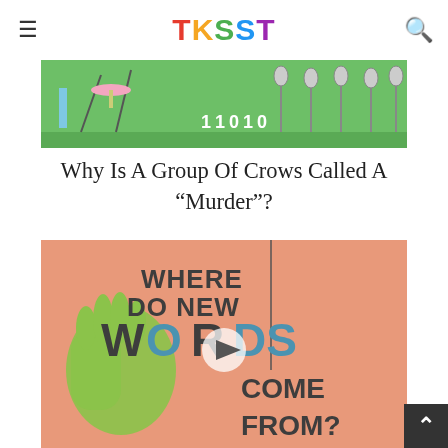TKSST
[Figure (illustration): Partial illustration showing crows on branches with binary numbers 11010, green background, part of an educational animation about crows]
Why Is A Group Of Crows Called A “Murder”?
[Figure (screenshot): Video thumbnail with peach/salmon background showing text 'WHERE DO NEW WORDS COME FROM?' with illustrated green hand and a play button in center. Dark teal/blue highlighted letters in WORDS.]